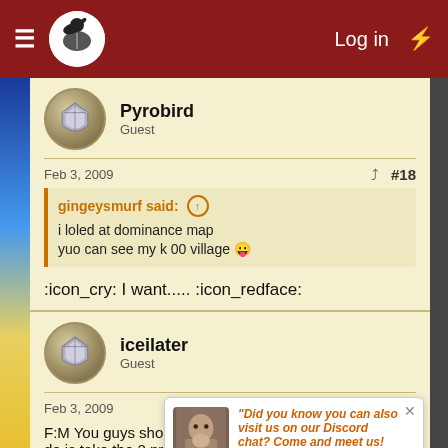Log in
Pyrobird
Guest
Feb 3, 2009 #18
gingeysmurf said:
i loled at dominance map
yuo can see my k 00 village
:icon_cry: I want..... :icon_redface:
iceilater
Guest
Feb 3, 2009 #19
"Did you know you can also visit us on our Discord chat? Come and meet us!
F:M You guys should take over K84 . All you'd have to do is take the 2 probably seriously stacked DNS vills  and then get